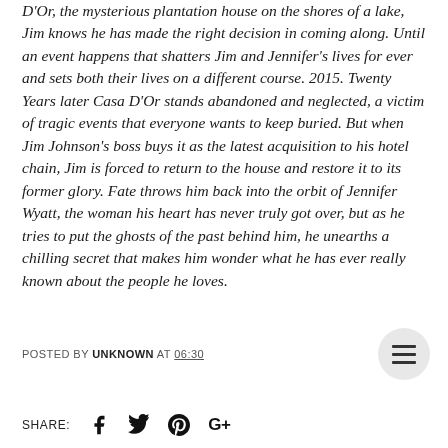D'Or, the mysterious plantation house on the shores of a lake, Jim knows he has made the right decision in coming along. Until an event happens that shatters Jim and Jennifer's lives for ever and sets both their lives on a different course. 2015. Twenty Years later Casa D'Or stands abandoned and neglected, a victim of tragic events that everyone wants to keep buried. But when Jim Johnson's boss buys it as the latest acquisition to his hotel chain, Jim is forced to return to the house and restore it to its former glory. Fate throws him back into the orbit of Jennifer Wyatt, the woman his heart has never truly got over, but as he tries to put the ghosts of the past behind him, he unearths a chilling secret that makes him wonder what he has ever really known about the people he loves.
POSTED BY UNKNOWN AT 06:30
SHARE: